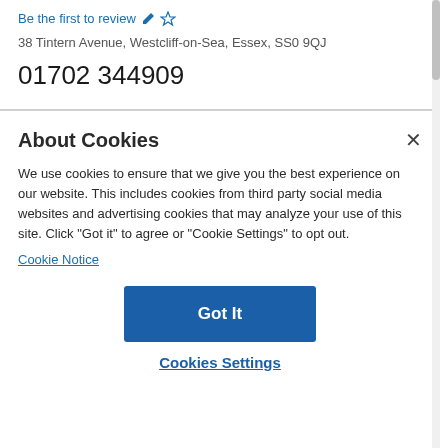Be the first to review
38 Tintern Avenue, Westcliff-on-Sea, Essex, SS0 9QJ
01702 344909
About Cookies
We use cookies to ensure that we give you the best experience on our website. This includes cookies from third party social media websites and advertising cookies that may analyze your use of this site. Click "Got it" to agree or "Cookie Settings" to opt out.
Cookie Notice
Got It
Cookies Settings